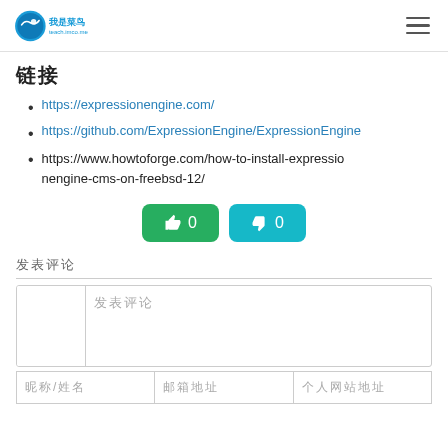我是菜鸟 teach.imco.me
链接
https://expressionengine.com/
https://github.com/ExpressionEngine/ExpressionEngine
https://www.howtoforge.com/how-to-install-expressionengine-cms-on-freebsd-12/
发表评论
评论框占位符
姓名 邮箱 网站